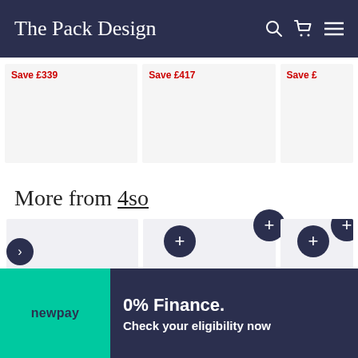The Pack Design
Save £339
Save £417
Save £...
More from 4so
0% Finance. Check your eligibility now
130cm Victoria
150cm Victoria
160cm...